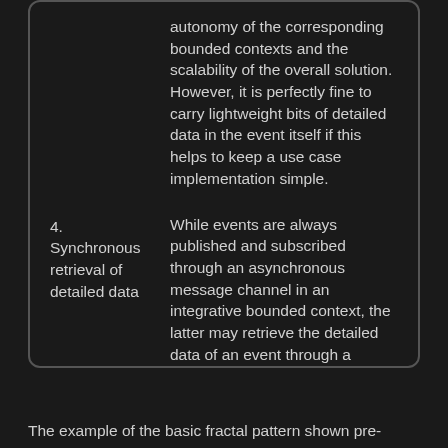autonomy of the corresponding bounded contexts and the scalability of the overall solution. However, it is perfectly fine to carry lightweight bits of detailed data in the event itself if this helps to keep a use case implementation simple.
4. Synchronous retrieval of detailed data — While events are always published and subscribed through an asynchronous message channel in an integrative bounded context, the latter may retrieve the detailed data of an event through a synchronous interface. The main request parameter of this interface is the revision ID of that detailed data record.
The example of the basic fractal pattern shown pre-